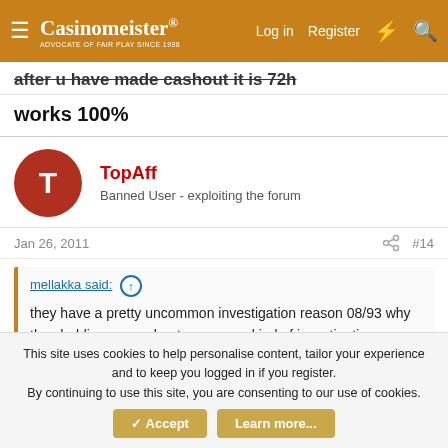Casinomeister® - Log in  Register
after u have made cashout it is 72h
works 100%
TopAff - Banned User - exploiting the forum
Jan 26, 2011  #14
mellakka said: ↑
they have a pretty uncommon investigation reason 08/93 why they holding my cashout was some kind of investigation or security checking, i asked if they now want my ID docs and utility bill. answer was "no we will ask if we need"
This site uses cookies to help personalise content, tailor your experience and to keep you logged in if you register.
By continuing to use this site, you are consenting to our use of cookies.